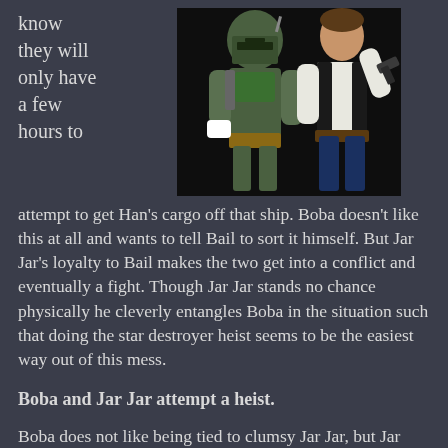know they will only have a few hours to
[Figure (photo): Photo of Boba Fett in full armor costume and Han Solo in black vest, both in action poses against a dark background]
attempt to get Han's cargo off that ship. Boba doesn't like this at all and wants to tell Bail to sort it himself. But Jar Jar's loyalty to Bail makes the two get into a conflict and eventually a fight. Though Jar Jar stands no chance physically he cleverly entangles Boba in the situation such that doing the star destroyer heist seems to be the easiest way out of this mess.
Boba and Jar Jar attempt a heist.
Boba does not like being tied to clumsy Jar Jar, but Jar Jar's clumsiness creates several effective distractions during the heist. When Boba finds his...